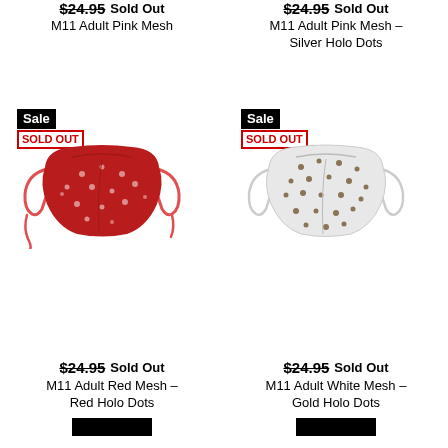$24.95 Sold Out
M11 Adult Pink Mesh
$24.95 Sold Out
M11 Adult Pink Mesh - Silver Holo Dots
[Figure (photo): Red mesh face mask with red holo dots and red ear loops, with Sale and Sold Out badges]
[Figure (photo): White mesh face mask with gold holo dots and white ear loops, with Sale and Sold Out badges]
$24.95 Sold Out
M11 Adult Red Mesh - Red Holo Dots
$24.95 Sold Out
M11 Adult White Mesh - Gold Holo Dots